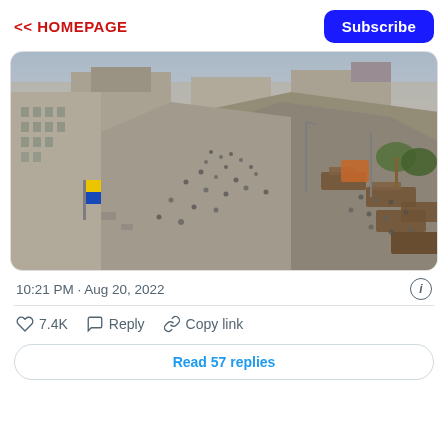<< HOMEPAGE
[Figure (photo): Aerial view of a wide city boulevard in Kyiv, Ukraine, showing crowds of people along the street and destroyed/captured Russian military vehicles on display. Large Soviet-era buildings line the left side, trees and city buildings in the background.]
10:21 PM · Aug 20, 2022
♡ 7.4K  Reply  Copy link
Read 57 replies